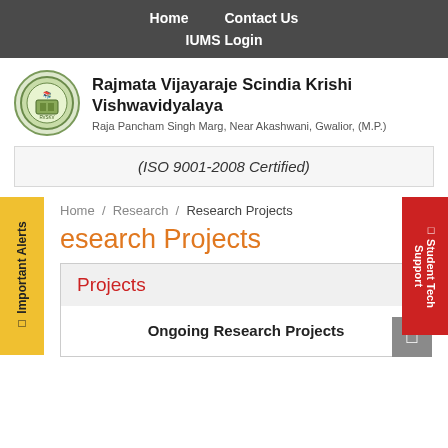Home   Contact Us   IUMS Login
[Figure (logo): Circular university emblem/seal with green border]
Rajmata Vijayaraje Scindia Krishi Vishwavidyalaya
Raja Pancham Singh Marg, Near Akashwani, Gwalior, (M.P.)
(ISO 9001-2008 Certified)
□ Important Alerts
□ Student Tech Support
Home / Research / Research Projects
Research Projects
Projects
Ongoing Research Projects